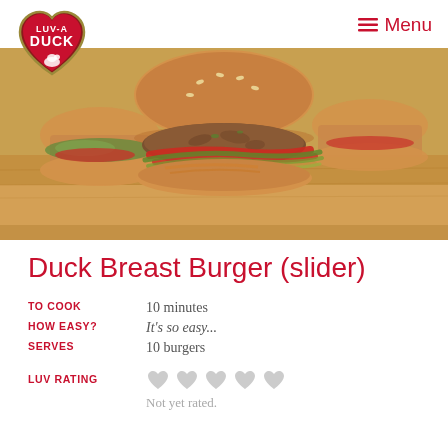LUV-A DUCK | Menu
[Figure (photo): Close-up photo of duck breast sliders/burgers on a wooden board, showing sesame seed buns filled with duck patties, red capsicum, slaw and greens]
Duck Breast Burger (slider)
| TO COOK | 10 minutes |
| HOW EASY? | It's so easy... |
| SERVES | 10 burgers |
LUV RATING   Not yet rated.